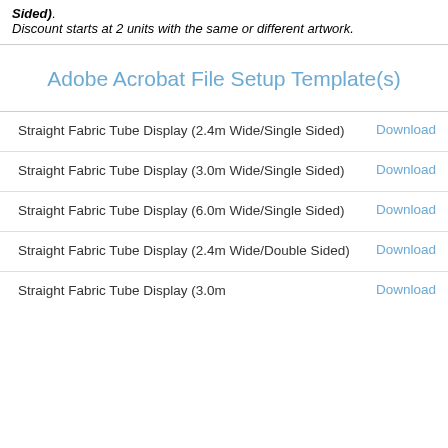Sided). Discount starts at 2 units with the same or different artwork.
Adobe Acrobat File Setup Template(s)
| Template Name | Action |
| --- | --- |
| Straight Fabric Tube Display (2.4m Wide/Single Sided) | Download |
| Straight Fabric Tube Display (3.0m Wide/Single Sided) | Download |
| Straight Fabric Tube Display (6.0m Wide/Single Sided) | Download |
| Straight Fabric Tube Display (2.4m Wide/Double Sided) | Download |
| Straight Fabric Tube Display (3.0m Wide/...) | Download |